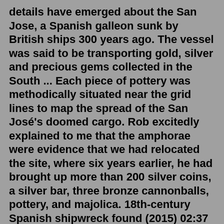details have emerged about the San Jose, a Spanish galleon sunk by British ships 300 years ago. The vessel was said to be transporting gold, silver and precious gems collected in the South ... Each piece of pottery was methodically situated near the grid lines to map the spread of the San José's doomed cargo. Rob excitedly explained to me that the amphorae were evidence that we had relocated the site, where six years earlier, he had brought up more than 200 silver coins, a silver bar, three bronze cannonballs, pottery, and majolica. 18th-century Spanish shipwreck found (2015) 02:37 Meow Wolf Museum CNN — For decades, researchers and governments have searched for a Spanish ship that sank more than 300 years ago, carrying gold... 2008 honda element vsa and check engine light In 2005 -- 383 years after the Sao Jose was lost -- the ship was finally located. A team of divers, archaeologists and other experts excavated her remains, and now you can secure your very own piece of the king's treasure -- an 8 Reales